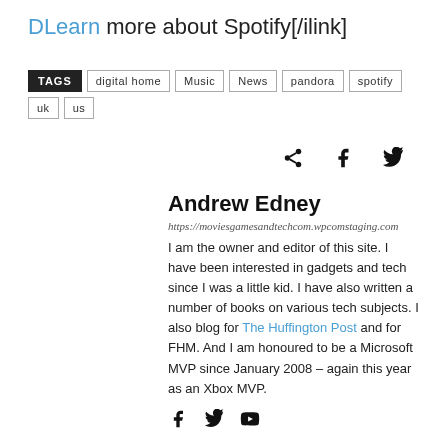DLearn more about Spotify[/ilink]
TAGS  digital home  Music  News  pandora  spotify  uk  us
[Figure (other): Share icons: share, facebook, twitter]
Andrew Edney
https://moviesgamesandtechcom.wpcomstaging.com
I am the owner and editor of this site. I have been interested in gadgets and tech since I was a little kid. I have also written a number of books on various tech subjects. I also blog for The Huffington Post and for FHM. And I am honoured to be a Microsoft MVP since January 2008 – again this year as an Xbox MVP.
[Figure (other): Author social icons: facebook, twitter, youtube]